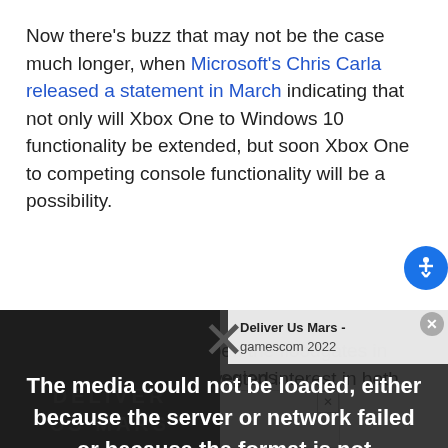Now there's buzz that may not be the case much longer, when Microsoft's Chris Carla released a statement in March indicating that not only will Xbox One to Windows 10 functionality be extended, but soon Xbox One to competing console functionality will be a possibility.
Since Microsoft has a vested interest in both
[Figure (other): Video player overlay showing 'The media could not be loaded, either because the server or network failed or because the format is not supported.' with Deliver Us Mars - gamescom 2022 panel on the right side and a dark background with DELIVER US MARS logo text on the left.]
Microsoft is trying to open the floodgates in multiplayer to the PS4 legions.
[Figure (other): Advertisement banner at the bottom with orange triangle logo.]